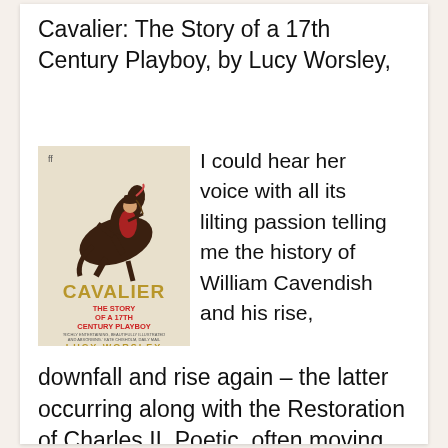Cavalier: The Story of a 17th Century Playboy, by Lucy Worsley,
[Figure (photo): Book cover of 'Cavalier: The Story of a 17th Century Playboy' by Lucy Worsley, showing a man on a rearing horse, with gold title text and red subtitle text]
I could hear her voice with all its lilting passion telling me the history of William Cavendish and his rise, downfall and rise again – the latter occurring along with the Restoration of Charles II. Poetic, often moving and with incredible